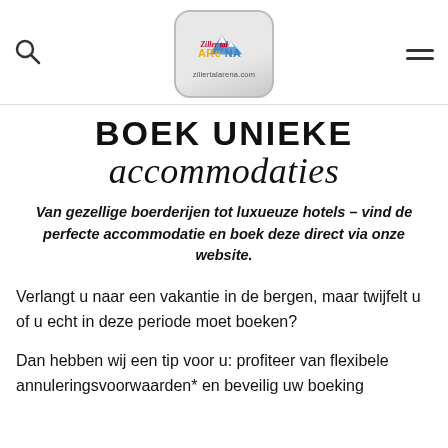[Figure (logo): Zillertal Arena logo with mountain graphic and text 'zillertalarena.com' inside a rounded rectangle]
BOEK UNIEKE accommodaties
Van gezellige boerderijen tot luxueuze hotels – vind de perfecte accommodatie en boek deze direct via onze website.
Verlangt u naar een vakantie in de bergen, maar twijfelt u of u echt in deze periode moet boeken?
Dan hebben wij een tip voor u: profiteer van flexibele annuleringsvoorwaarden* en beveilig uw boeking